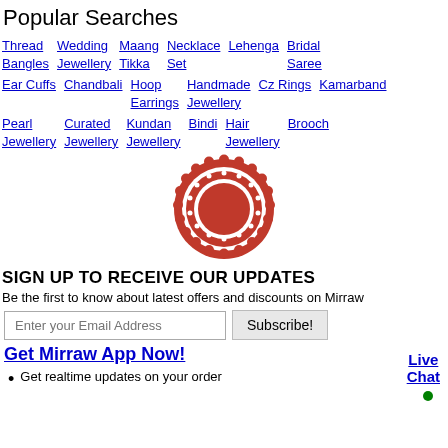Popular Searches
Thread Bangles
Wedding Jewellery
Maang Tikka
Necklace Set
Lehenga
Bridal Saree
Ear Cuffs
Chandbali
Hoop Earrings
Handmade Jewellery
Cz Rings
Kamarband
Pearl Jewellery
Curated Jewellery
Kundan Jewellery
Bindi
Hair Jewellery
Brooch
[Figure (illustration): Red decorative mandala/sun ornament logo]
SIGN UP TO RECEIVE OUR UPDATES
Be the first to know about latest offers and discounts on Mirraw
Enter your Email Address  Subscribe!
Get Mirraw App Now!
Live Chat
Get realtime updates on your order